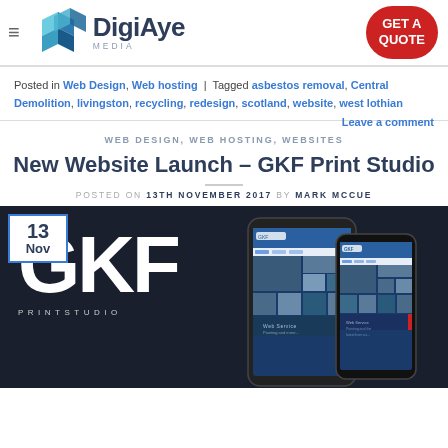DigiAye Media — GET A QUOTE
Posted in Web Design, Web hosting | Tagged asbestos removal, Central Demolition, livingston, recycling, redesign, scotland, website, west lothian — Leave a comment
WEB DESIGN, WEB HOSTING, WEBSITES
New Website Launch – GKF Print Studio
POSTED ON 13TH NOVEMBER 2017 BY MARK MCCUE
[Figure (screenshot): GKF Print Studio website launch promotional image with GKF logo on dark background and phone/tablet mockups showing the new website, with a date badge showing 13 Nov]